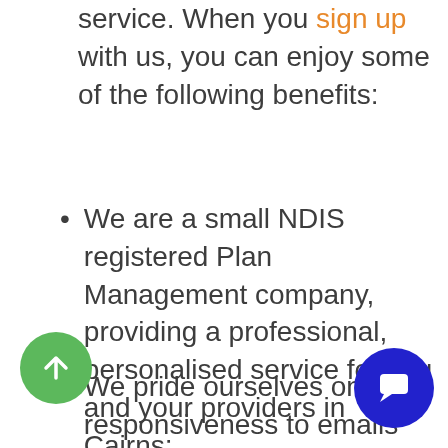service. When you sign up with us, you can enjoy some of the following benefits:
We are a small NDIS registered Plan Management company, providing a professional, personalised service for you and your providers in Cairns;
We pride ourselves on our responsiveness to emails and phone calls; and our fast turnaround of invoices,